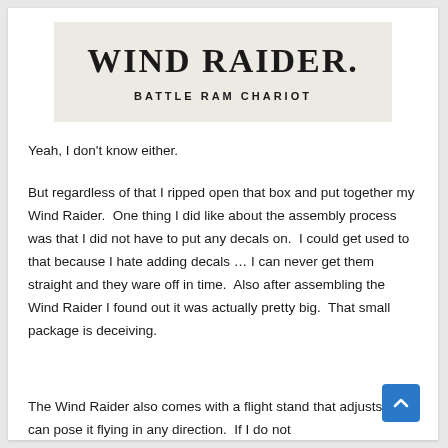[Figure (other): Wind Raider logo on beige/tan background. Large bold serif text 'WIND RAIDER.' and below it smaller bold sans-serif text 'BATTLE RAM CHARIOT']
Yeah, I don't know either.
But regardless of that I ripped open that box and put together my Wind Raider.  One thing I did like about the assembly process was that I did not have to put any decals on.  I could get used to that because I hate adding decals … I can never get them straight and they ware off in time.  Also after assembling the Wind Raider I found out it was actually pretty big.  That small package is deceiving.
The Wind Raider also comes with a flight stand that adjusts, so I can pose it flying in any direction.  If I do not